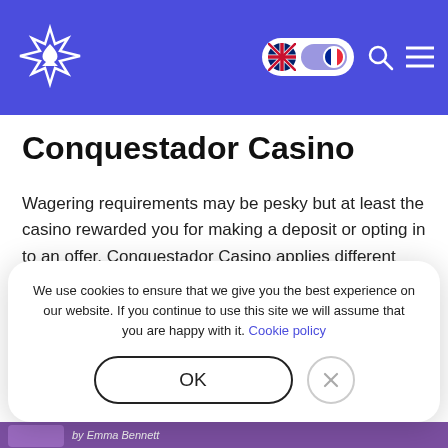[Figure (screenshot): Website navigation header with blue/purple background, a white card suit logo (maple leaf with spade), a language toggle showing UK flag and purple circle, a search icon, and a hamburger menu icon.]
Conquestador Casino
Wagering requirements may be pesky but at least the casino rewarded you for making a deposit or opting in to an offer. Conquestador Casino applies different wagering requirements for different bonuses. The best thing to do is to read the bonus terms or the terms in the offer you’ve received to avoid any misunderstandings.
We use cookies to ensure that we give you the best experience on our website. If you continue to use this site we will assume that you are happy with it. Cookie policy
OK
by Emma Bennett